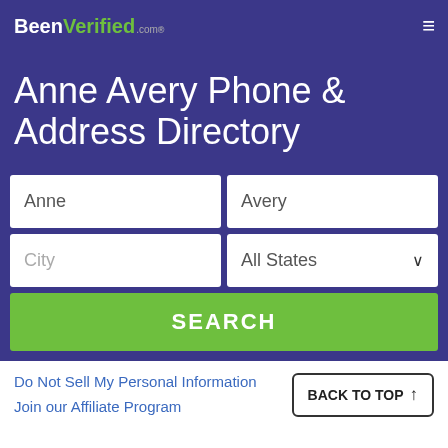BeenVerified.com
Anne Avery Phone & Address Directory
[Figure (screenshot): Search form with first name field 'Anne', last name field 'Avery', city field, All States dropdown, and SEARCH button]
Do Not Sell My Personal Information
Join our Affiliate Program
BACK TO TOP ↑